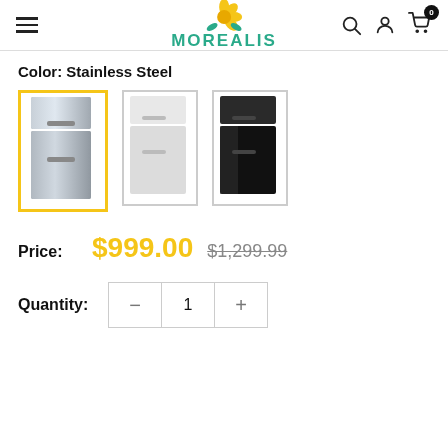Morealis — navigation header with hamburger menu, logo, search, account, and cart icons
Color: Stainless Steel
[Figure (photo): Three refrigerator color options: Stainless Steel (selected, highlighted with yellow border), White, and Black]
Price: $999.00  $1,299.99
Quantity: 1